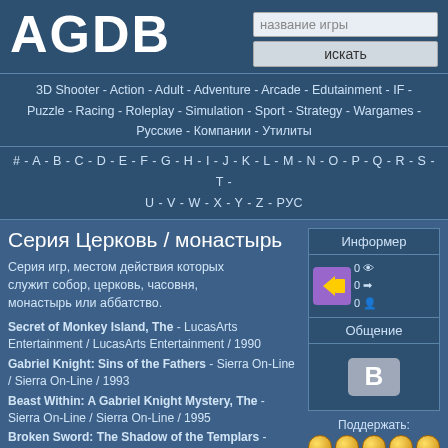AGDB
3D Shooter - Action - Adult - Adventure - Arcade - Edutainment - IF - Puzzle - Racing - Roleplay - Simulation - Sport - Strategy - Wargames - Русские - Компании - Утилиты
# - A - B - C - D - E - F - G - H - I - J - K - L - M - N - O - P - Q - R - S - T - U - V - W - X - Y - Z - РУС
Серия Церковь / монастырь
Серия игр, местом действия которых служит собор, церковь, часовня, монастырь или аббатство.
Secret of Monkey Island, The - LucasArts Entertainment / LucasArts Entertainment / 1990
Gabriel Knight: Sins of the Fathers - Sierra On-Line / Sierra On-Line / 1993
Beast Within: A Gabriel Knight Mystery, The - Sierra On-Line / Sierra On-Line / 1995
Broken Sword: The Shadow of the Templars - Revolution Software / Virgin Interactive / 1996
Tomb Raider II Gold - Core Design / Eidos
Информер
Общение
Поддержать:
Поделиться: